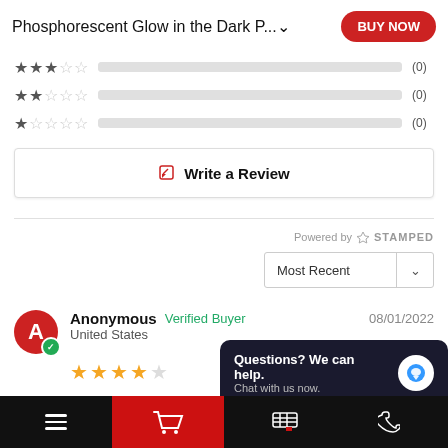Phosphorescent Glow in the Dark P... BUY NOW
[Figure (infographic): Star rating bars showing 3-star, 2-star, and 1-star rows each with (0) count]
Write a Review
Powered by STAMPED
Most Recent dropdown
Anonymous Verified Buyer 08/01/2022
United States
4 stars
Bright
[Figure (screenshot): Chat widget: Questions? We can help. Chat with us now.]
Bottom navigation bar with hamburger menu, cart, and other icons